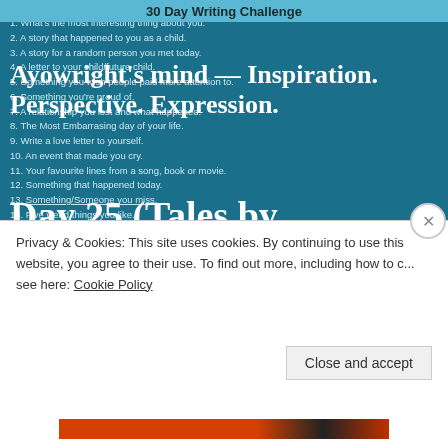30 Day Writing Challenge
Ayowright's mind — Inspiration. Perspective. Expression.
1. What's the most interesting thing about you.
2. A story that happened to you as a child.
3. A story for a random person you met today.
4. A letter to your child/future child.
5. Something you wish people paid more attention to.
6. Something you're proud of.
7. A relationship you lost and what happened.
8. The Most Embarrasing day of your life.
9. Write a love letter to yourself.
10. An event that made you cry.
11. Your favourite lines from a song, book or movie.
12. Something that happened today.
13. Something/Someone you miss.
14. Five weird things you like.
15. Something you're currently worried about.
16. Someone who inspired you and why.
17. Your first love.
18. A quote that gets you going.
19. An encouraging note to someone you met today.
20. A rant.
21. How you've changed in the past year.
22. What your most afraid of.
Day 25 (Tales by MoonWright)
Privacy & Cookies: This site uses cookies. By continuing to use this website, you agree to their use. To find out more, including how to c... see here: Cookie Policy
Close and accept